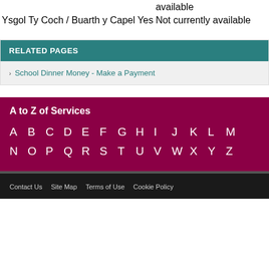| School | Online Payments | App |
| --- | --- | --- |
|  |  | available |
| Ysgol Ty Coch / Buarth y Capel | Yes | Not currently available |
RELATED PAGES
School Dinner Money - Make a Payment
A to Z of Services
A B C D E F G H I J K L M N O P Q R S T U V W X Y Z
Contact Us   Site Map   Terms of Use   Cookie Policy